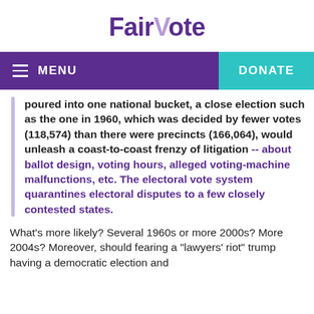FairVote
MENU  DONATE
poured into one national bucket, a close election such as the one in 1960, which was decided by fewer votes (118,574) than there were precincts (166,064), would unleash a coast-to-coast frenzy of litigation -- about ballot design, voting hours, alleged voting-machine malfunctions, etc. The electoral vote system quarantines electoral disputes to a few closely contested states.
What's more likely? Several 1960s or more 2000s? More 2004s? Moreover, should fearing a "lawyers' riot" trump having a democratic election and